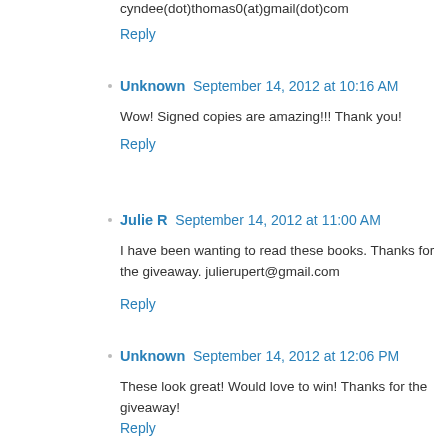cyndee(dot)thomas0(at)gmail(dot)com
Reply
Unknown  September 14, 2012 at 10:16 AM
Wow! Signed copies are amazing!!! Thank you!
Reply
Julie R  September 14, 2012 at 11:00 AM
I have been wanting to read these books. Thanks for the giveaway. julierupert@gmail.com
Reply
Unknown  September 14, 2012 at 12:06 PM
These look great! Would love to win! Thanks for the giveaway!
Reply